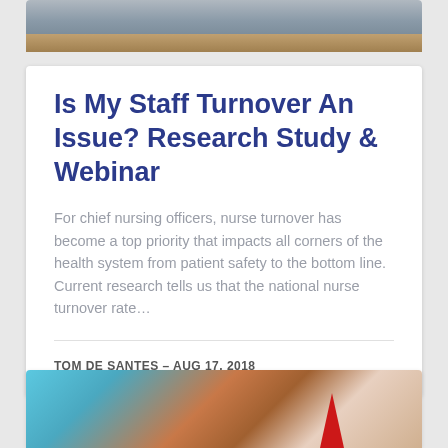[Figure (photo): Top portion of a building exterior with ceiling and roof overhang visible, partially cut off at the top of the page]
Is My Staff Turnover An Issue? Research Study & Webinar
For chief nursing officers, nurse turnover has become a top priority that impacts all corners of the health system from patient safety to the bottom line. Current research tells us that the national nurse turnover rate…
TOM DE SANTES – AUG 17, 2018
[Figure (photo): Bottom portion of a building exterior with brick facade and teal/blue architectural elements partially visible at the bottom of the page]